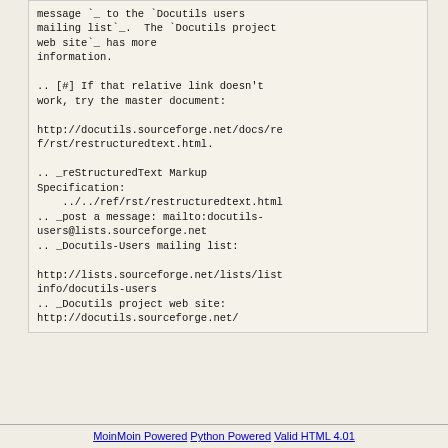message `_ to the `Docutils users mailing list`_.  The `Docutils project web site`_ has more information.

.. [#] If that relative link doesn't work, try the master document:

http://docutils.sourceforge.net/docs/ref/rst/restructuredtext.html.

.. _reStructuredText Markup Specification:
    ../../ref/rst/restructuredtext.html
.. _post a message: mailto:docutils-users@lists.sourceforge.net
.. _Docutils-Users mailing list:

http://lists.sourceforge.net/lists/listinfo/docutils-users
.. _Docutils project web site: http://docutils.sourceforge.net/
MoinMoin Powered  Python Powered  Valid HTML 4.01